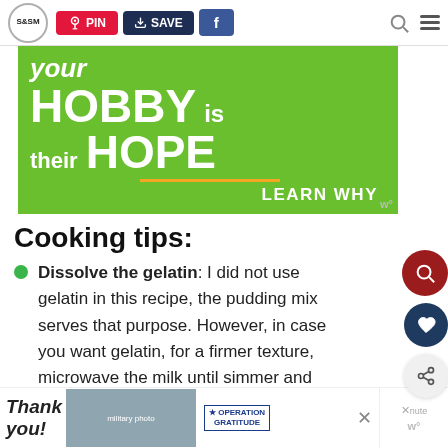S&SM logo, PIN button, SAVE button, Facebook button, search icon, menu icon
[Figure (photo): Advertisement banner with green background showing 'your HOBBY is their HOPE LEARN WHY' text]
Cooking tips:
Dissolve the gelatin: I did not use gelatin in this recipe, the pudding mix serves that purpose. However, in case you want gelatin, for a firmer texture, microwave the milk until simmer and
[Figure (photo): Bottom advertisement strip: Thank you with Operation Gratitude branding]